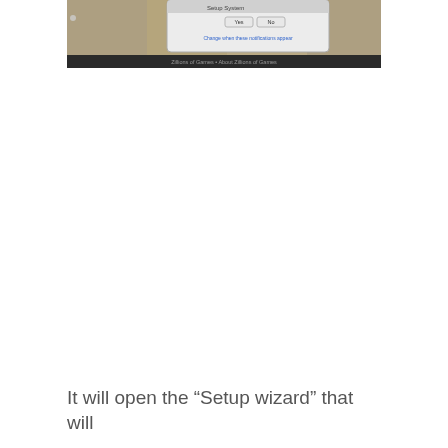[Figure (screenshot): A screenshot showing a dialog box with a 'Setup System' or similar prompt, two buttons (Yes/No or OK/Cancel), and a link text below them reading 'Change when these notifications appear'. Below the dialog is a taskbar/desktop strip with text 'Zillions of Games • About Zillions of Games'.]
It will open the "Setup wizard" that will